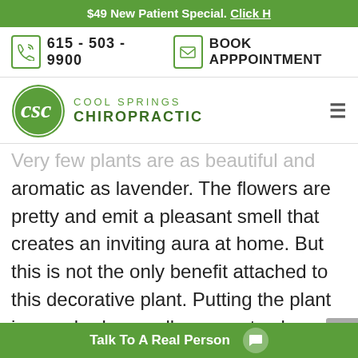$49 New Patient Special. Click H
615 - 503 - 9900
BOOK APPPOINTMENT
[Figure (logo): Cool Springs Chiropractic logo with CSC monogram in green circle and text]
Very few plants are as beautiful and aromatic as lavender. The flowers are pretty and emit a pleasant smell that creates an inviting aura at home. But this is not the only benefit attached to this decorative plant. Putting the plant in your bedroom allows you to sleep better. It provides relief from insomnia, anxiety, and restlessness. You just have t
Talk To A Real Person